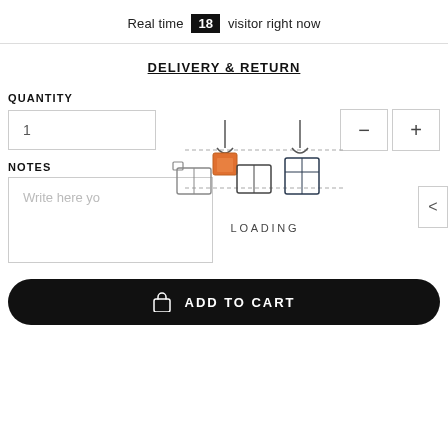Real time 18 visitor right now
DELIVERY & RETURN
QUANTITY
1
NOTES
Write here yo
[Figure (infographic): Loading animation showing boxes on a conveyor line with a crane hook picking up an orange box on the left and a dark box on the right, labeled LOADING]
ADD TO CART